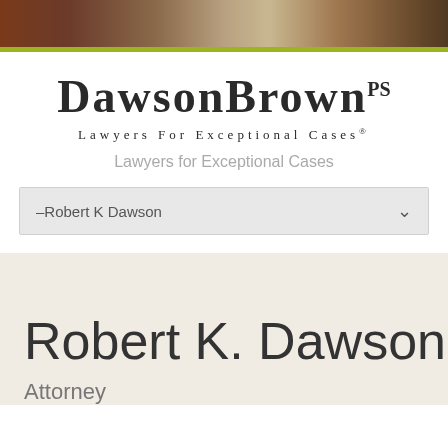[Figure (photo): Blurred header background image with dark brown and warm tones, with a lime green accent bar at the bottom]
DAWSON BROWN PS
LAWYERS FOR EXCEPTIONAL CASES®
Lawyers for Exceptional Cases
–Robert K Dawson
Robert K. Dawson
Attorney